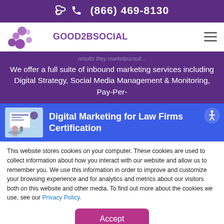(866) 469-8130
[Figure (logo): Good2BSocial logo with purple bubbles and stylized text]
We offer a full suite of inbound marketing services including Digital Strategy, Social Media Management & Monitoring, Pay-Per-
Digital Marketing for Law Firms Certification
This website stores cookies on your computer. These cookies are used to collect information about how you interact with our website and allow us to remember you. We use this information in order to improve and customize your browsing experience and for analytics and metrics about our visitors both on this website and other media. To find out more about the cookies we use, see our Privacy Policy.
Accept